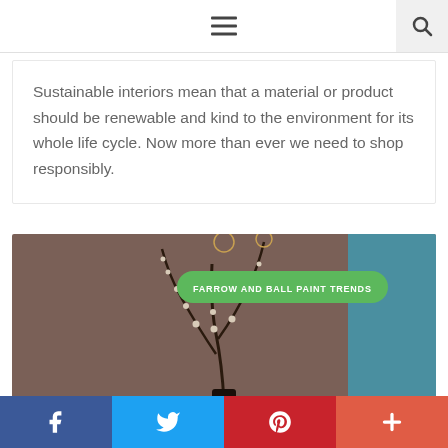Navigation bar with hamburger menu and search icon
Sustainable interiors mean that a material or product should be renewable and kind to the environment for its whole life cycle. Now more than ever we need to shop responsibly.
[Figure (photo): Photo of decorative bare branches with small white buds in a dark vase against a dark brown/taupe wall background, with a teal panel on the right. A green pill-shaped button overlays the image with text 'FARROW AND BALL PAINT TRENDS'.]
Social sharing bar with Facebook, Twitter, Pinterest, and a plus (+) button